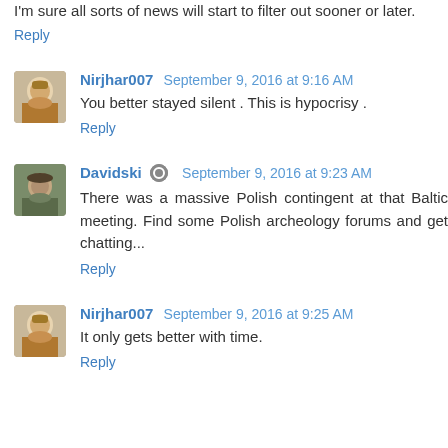I'm sure all sorts of news will start to filter out sooner or later.
Reply
Nirjhar007  September 9, 2016 at 9:16 AM
You better stayed silent . This is hypocrisy .
Reply
Davidski  September 9, 2016 at 9:23 AM
There was a massive Polish contingent at that Baltic meeting. Find some Polish archeology forums and get chatting...
Reply
Nirjhar007  September 9, 2016 at 9:25 AM
It only gets better with time.
Reply